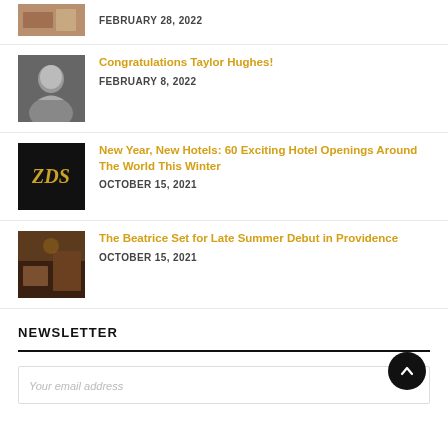[Figure (photo): Partial hotel interior photo thumbnail, top of page]
FEBRUARY 28, 2022
[Figure (photo): Black and white portrait photo of Taylor Hughes smiling]
Congratulations Taylor Hughes!
FEBRUARY 8, 2022
[Figure (logo): ZDS logo in gold italic text on black background]
New Year, New Hotels: 60 Exciting Hotel Openings Around The World This Winter
OCTOBER 15, 2021
[Figure (photo): Luxury hotel interior with warm lighting and ornate decor]
The Beatrice Set for Late Summer Debut in Providence
OCTOBER 15, 2021
NEWSLETTER